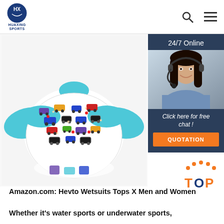HUAXING SPORTS
[Figure (photo): A children's wetsuit top with blue sleeves and a colorful cars/vehicles pattern on the body, displayed on a mannequin against a white background]
[Figure (infographic): 24/7 Online chat widget with a female customer service agent wearing a headset. Text reads 'Click here for free chat!' and an orange 'QUOTATION' button below.]
[Figure (other): Orange 'TOP' text with dotted arc above, indicating a top-rated or featured product]
Amazon.com: Hevto Wetsuits Tops X Men and Women
Whether it's water sports or underwater sports,